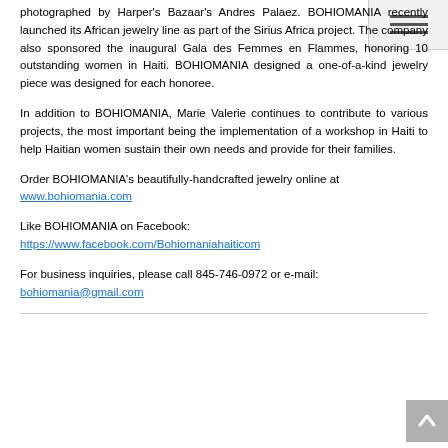photographed by Harper's Bazaar's Andres Palaez. BOHIOMANIA recently launched its African jewelry line as part of the Sirius Africa project. The company also sponsored the inaugural Gala des Femmes en Flammes, honoring 10 outstanding women in Haiti. BOHIOMANIA designed a one-of-a-kind jewelry piece was designed for each honoree.
In addition to BOHIOMANIA, Marie Valerie continues to contribute to various projects, the most important being the implementation of a workshop in Haiti to help Haitian women sustain their own needs and provide for their families.
Order BOHIOMANIA's beautifully-handcrafted jewelry online at www.bohiomania.com
Like BOHIOMANIA on Facebook: https://www.facebook.com/Bohiomaniahaiticom
For business inquiries, please call 845-746-0972 or e-mail: bohiomania@gmail.com